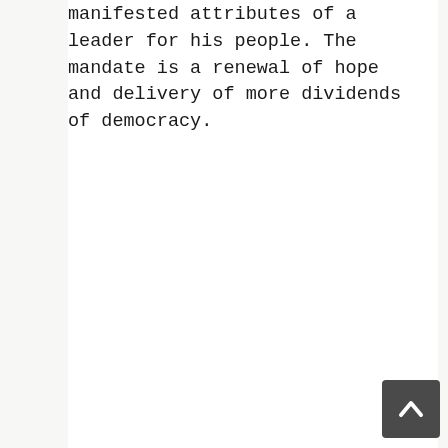manifested attributes of a leader for his people. The mandate is a renewal of hope and delivery of more dividends of democracy.